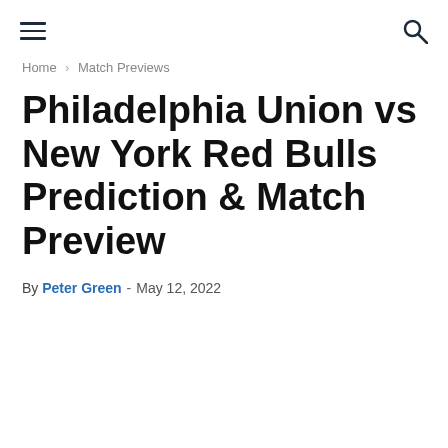hamburger menu | search icon
Home › Match Previews
Philadelphia Union vs New York Red Bulls Prediction & Match Preview
By Peter Green - May 12, 2022